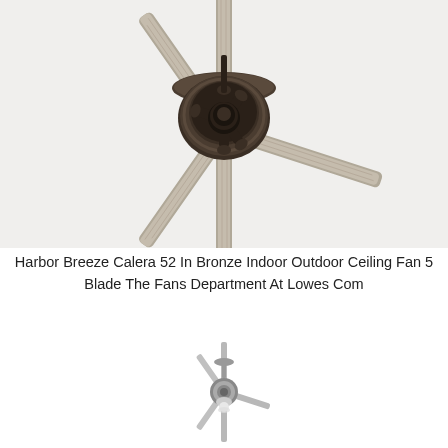[Figure (photo): Close-up photo of a Harbor Breeze Calera bronze ceiling fan showing the central motor housing and blade brackets with 5 gray/weathered wood blades extending outward, photographed from below against a white background.]
Harbor Breeze Calera 52 In Bronze Indoor Outdoor Ceiling Fan 5 Blade The Fans Department At Lowes Com
[Figure (photo): Small full-view photo of a Harbor Breeze ceiling fan with 5 silver/gray blades and a light kit, shown from below against a white background.]